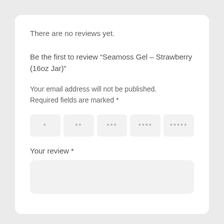There are no reviews yet.
Be the first to review “Seamoss Gel – Strawberry (16oz Jar)”
Your email address will not be published. Required fields are marked *
[Figure (other): Star rating selector with five boxes showing 1 to 5 stars represented by asterisks: *, **, ***, ****, *****]
Your review *
[Figure (other): Empty text area input box for writing a review]